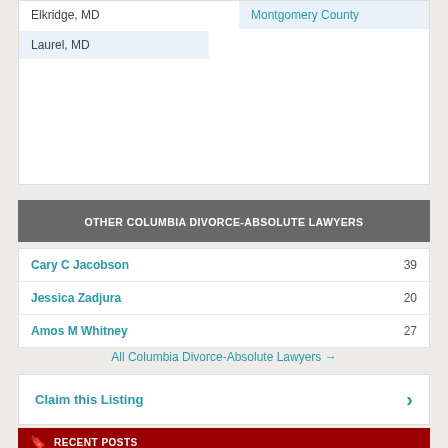Elkridge, MD
Laurel, MD
Montgomery County
OTHER COLUMBIA DIVORCE-ABSOLUTE LAWYERS
Cary C Jacobson  39
Jessica Zadjura  20
Amos M Whitney  27
All Columbia Divorce-Absolute Lawyers →
Claim this Listing
RECENT POSTS